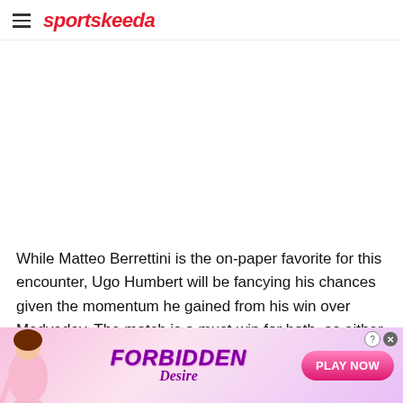sportskeeda
[Figure (other): Large white/blank image placeholder area]
While Matteo Berrettini is the on-paper favorite for this encounter, Ugo Humbert will be fancying his chances given the momentum he gained from his win over Medvedev. The match is a must-win for both, as either
[Figure (other): Advertisement banner for 'Forbidden Desire' with a cartoon woman figure, purple stylized text, and a pink 'PLAY NOW' button]